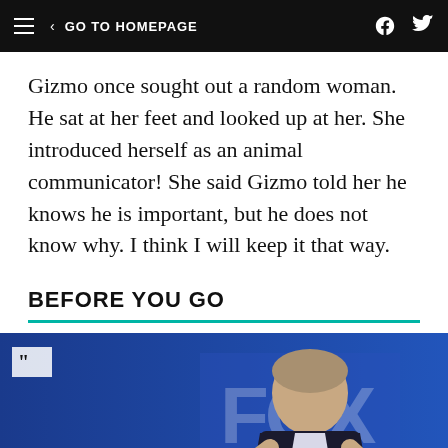GO TO HOMEPAGE
Gizmo once sought out a random woman. He sat at her feet and looked up at her. She introduced herself as an animal communicator! She said Gizmo told her he knows he is important, but he does not know why. I think I will keep it that way.
BEFORE YOU GO
[Figure (photo): Video thumbnail showing a man in a suit gesturing at a podium in front of a blue FOX News backdrop, with a play button and timestamp 1:18. Title text partially visible: 'Hannity Whines Over']